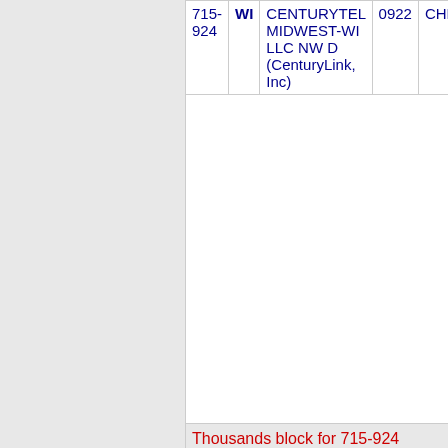| NPA-NXX | State | Company | OCN | Other |
| --- | --- | --- | --- | --- |
| 715-924 | WI | CENTURYTEL MIDWEST-WI LLC NW D (CenturyLink, Inc) | 0922 | CHETE |
| Thousands block for 715-924 |  |  |  |  |
| 715-924-0 | WI | CENTURYTEL MIDWEST-WI LLC NW D (CenturyLink, Inc) | 0922 | CHETE |